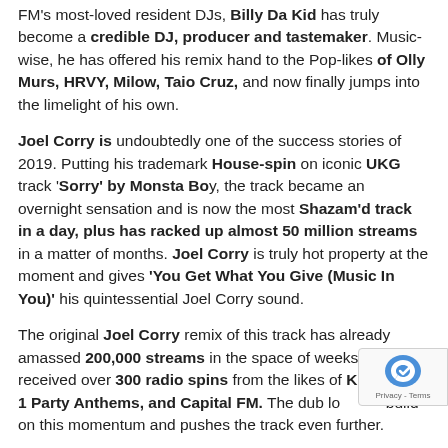FM's most-loved resident DJs, Billy Da Kid has truly become a credible DJ, producer and tastemaker. Music-wise, he has offered his remix hand to the Pop-likes of Olly Murs, HRVY, Milow, Taio Cruz, and now finally jumps into the limelight of his own.
Joel Corry is undoubtedly one of the success stories of 2019. Putting his trademark House-spin on iconic UKG track 'Sorry' by Monsta Boy, the track became an overnight sensation and is now the most Shazam'd track in a day, plus has racked up almost 50 million streams in a matter of months. Joel Corry is truly hot property at the moment and gives 'You Get What You Give (Music In You)' his quintessential Joel Corry sound.
The original Joel Corry remix of this track has already amassed 200,000 streams in the space of weeks; plus has received over 300 radio spins from the likes of KISS Radio 1 Party Anthems, and Capital FM. The dub lo... build on this momentum and pushes the track even further.